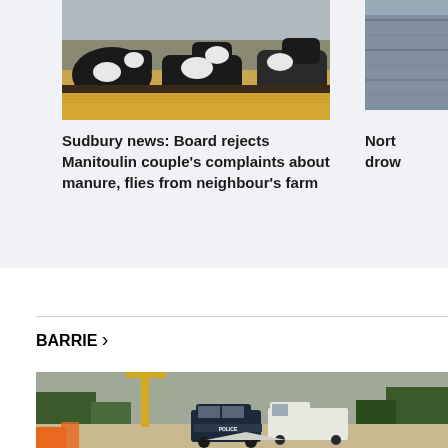[Figure (photo): Black and white dairy cows eating hay at a farm]
[Figure (photo): Partially visible image on right side, appears to show water]
Sudbury news: Board rejects Manitoulin couple's complaints about manure, flies from neighbour's farm
Nort drow
BARRIE >
[Figure (photo): Police vehicles at a scene with trees and road, construction equipment visible]